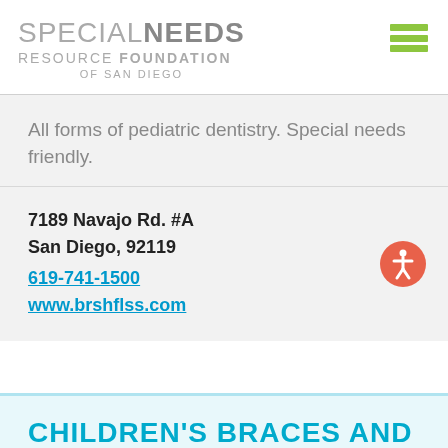SPECIAL NEEDS RESOURCE FOUNDATION OF SAN DIEGO
All forms of pediatric dentistry. Special needs friendly.
7189 Navajo Rd. #A
San Diego, 92119
619-741-1500
www.brshflss.com
CHILDREN'S BRACES AND